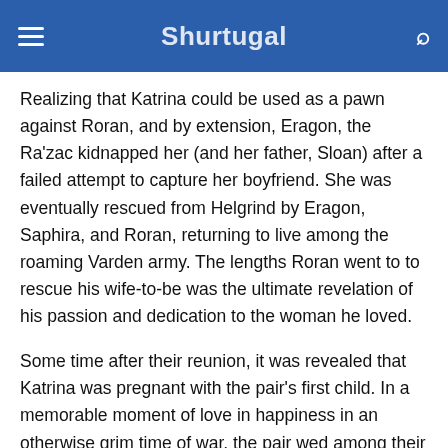Shurtugal
Realizing that Katrina could be used as a pawn against Roran, and by extension, Eragon, the Ra’zac kidnapped her (and her father, Sloan) after a failed attempt to capture her boyfriend. She was eventually rescued from Helgrind by Eragon, Saphira, and Roran, returning to live among the roaming Varden army. The lengths Roran went to to rescue his wife-to-be was the ultimate revelation of his passion and dedication to the woman he loved.
Some time after their reunion, it was revealed that Katrina was pregnant with the pair’s first child. In a memorable moment of love in happiness in an otherwise grim time of war, the pair wed among their friends and family, with help from Arya, Nasuada, and Eragon, who each contribute wedding gifts and trinkets to make the ceremony possible.